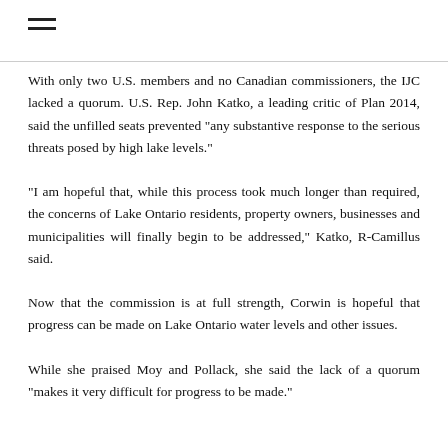With only two U.S. members and no Canadian commissioners, the IJC lacked a quorum. U.S. Rep. John Katko, a leading critic of Plan 2014, said the unfilled seats prevented "any substantive response to the serious threats posed by high lake levels."
"I am hopeful that, while this process took much longer than required, the concerns of Lake Ontario residents, property owners, businesses and municipalities will finally begin to be addressed," Katko, R-Camillus said.
Now that the commission is at full strength, Corwin is hopeful that progress can be made on Lake Ontario water levels and other issues.
While she praised Moy and Pollack, she said the lack of a quorum "makes it very difficult for progress to be made."